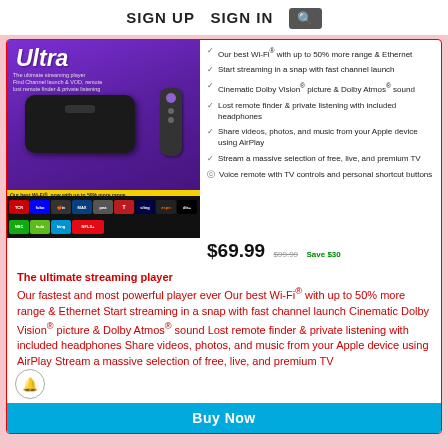SIGN UP   SIGN IN  [search icon]
[Figure (photo): Roku Ultra streaming player product box with remote and earphones on purple background, showing streaming service app logos]
Our best Wi-Fi® with up to 50% more range & Ethernet
Start streaming in a snap with fast channel launch
Cinematic Dolby Vision® picture & Dolby Atmos® sound
Lost remote finder & private listening with included headphones
Share videos, photos, and music from your Apple device using AirPlay
Stream a massive selection of free, live, and premium TV
Voice remote with TV controls and personal shortcut buttons
$69.99  $99.99  Save $30
The ultimate streaming player
Our fastest and most powerful player ever Our best Wi-Fi® with up to 50% more range & Ethernet Start streaming in a snap with fast channel launch Cinematic Dolby Vision® picture & Dolby Atmos® sound Lost remote finder & private listening with included headphones Share videos, photos, and music from your Apple device using AirPlay Stream a massive selection of free, live, and premium TV